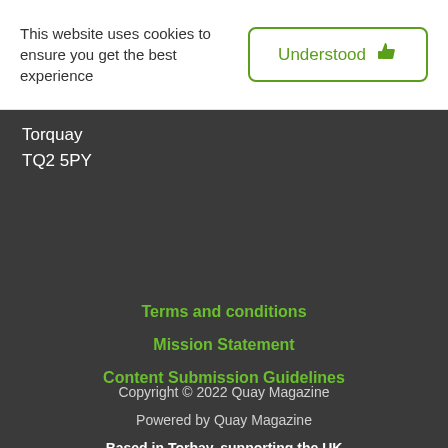This website uses cookies to ensure you get the best experience
Understood 👍
Torquay
TQ2 5PY
Terms and conditions
Mission Statement
Content Submission Guidelines
Copyright © 2022 Quay Magazine
Powered by Quay Magazine
Based in Torbay, supporting the UK